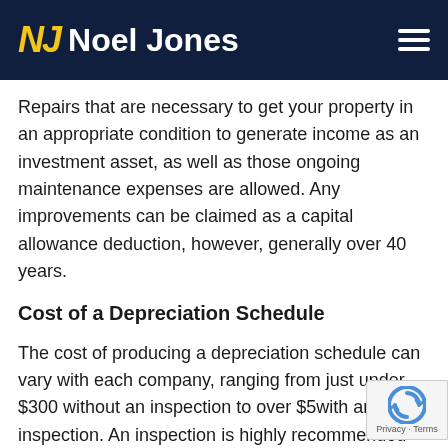NJ Noel Jones
Repairs that are necessary to get your property in an appropriate condition to generate income as an investment asset, as well as those ongoing maintenance expenses are allowed. Any improvements can be claimed as a capital allowance deduction, however, generally over 40 years.
Cost of a Depreciation Schedule
The cost of producing a depreciation schedule can vary with each company, ranging from just under $300 without an inspection to over $5-- with an inspection. An inspection is highly recommended as a professional will look at every